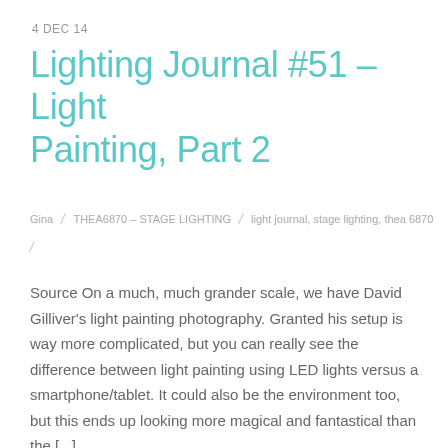4 DEC 14
Lighting Journal #51 – Light Painting, Part 2
Gina / THEA6870 – STAGE LIGHTING / light journal, stage lighting, thea 6870
Source On a much, much grander scale, we have David Gilliver's light painting photography. Granted his setup is way more complicated, but you can really see the difference between light painting using LED lights versus a smartphone/tablet. It could also be the environment too, but this ends up looking more magical and fantastical than the [...]